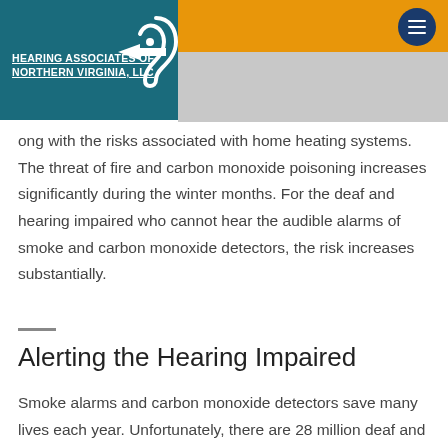[Figure (logo): Hearing Associates of Northern Virginia, LLC logo on teal background with ear graphic and arrow]
ong with the risks associated with home heating systems. The threat of fire and carbon monoxide poisoning increases significantly during the winter months. For the deaf and hearing impaired who cannot hear the audible alarms of smoke and carbon monoxide detectors, the risk increases substantially.
Alerting the Hearing Impaired
Smoke alarms and carbon monoxide detectors save many lives each year. Unfortunately, there are 28 million deaf and